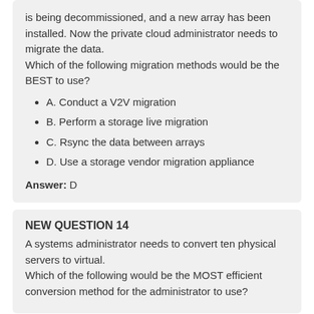is being decommissioned, and a new array has been installed. Now the private cloud administrator needs to migrate the data. Which of the following migration methods would be the BEST to use?
A. Conduct a V2V migration
B. Perform a storage live migration
C. Rsync the data between arrays
D. Use a storage vendor migration appliance
Answer: D
NEW QUESTION 14
A systems administrator needs to convert ten physical servers to virtual. Which of the following would be the MOST efficient conversion method for the administrator to use?